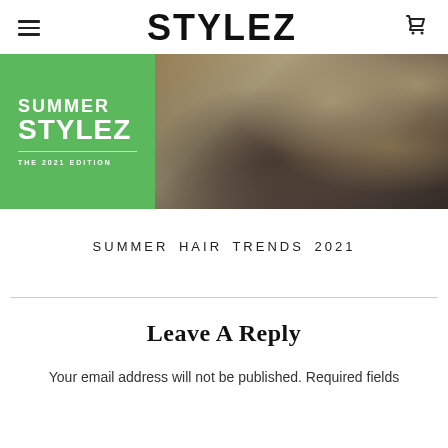STYLEZ
[Figure (photo): Summer Stylez 2021 edition banner with green overlay box on left reading 'SUMMER STYLEZ THE 2021 EDITION' and a woman with curly blonde hair on the right]
SUMMER HAIR TRENDS 2021
Leave A Reply
Your email address will not be published. Required fields